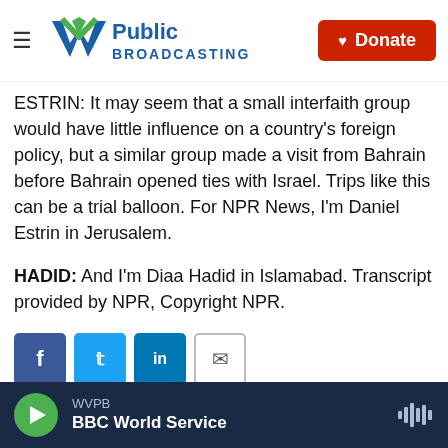WV Public Broadcasting | Donate
ESTRIN: It may seem that a small interfaith group would have little influence on a country's foreign policy, but a similar group made a visit from Bahrain before Bahrain opened ties with Israel. Trips like this can be a trial balloon. For NPR News, I'm Daniel Estrin in Jerusalem.
HADID: And I'm Diaa Hadid in Islamabad. Transcript provided by NPR, Copyright NPR.
[Figure (infographic): Social sharing buttons: Facebook (blue), Twitter (blue), LinkedIn (blue), Email (outlined)]
[Figure (photo): Partial headshot of Daniel Estrin in black and white]
Daniel Estrin
WVPB | BBC World Service